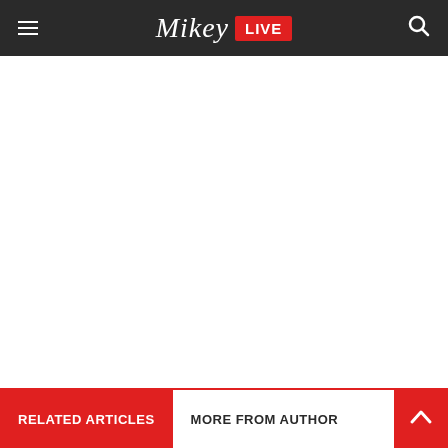Mikey LIVE
[Figure (other): White blank content area]
RELATED ARTICLES    MORE FROM AUTHOR